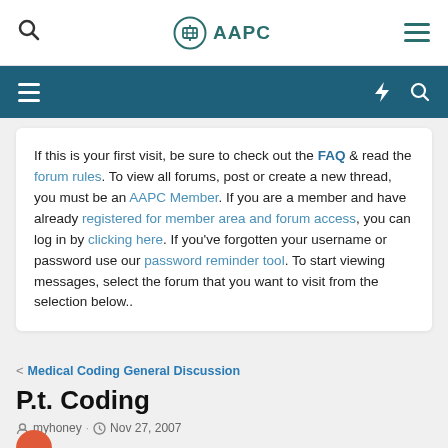AAPC
If this is your first visit, be sure to check out the FAQ & read the forum rules. To view all forums, post or create a new thread, you must be an AAPC Member. If you are a member and have already registered for member area and forum access, you can log in by clicking here. If you've forgotten your username or password use our password reminder tool. To start viewing messages, select the forum that you want to visit from the selection below..
Medical Coding General Discussion
P.t. Coding
myhoney · Nov 27, 2007